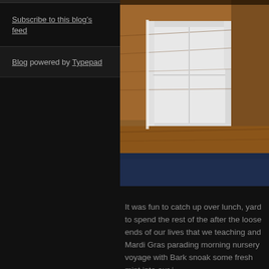Subscribe to this blog's feed
Blog powered by Typepad
[Figure (photo): Close-up photograph of a wooden drawer or furniture piece showing wood grain, a white panel/mirror, and a blue surface below]
It was fun to catch up over lunch, yard to spend the rest of the after the loose ends of our lives that we teaching and Mardi Gras parading morning nursery voyage with Bark snoak some fresh mint into our i